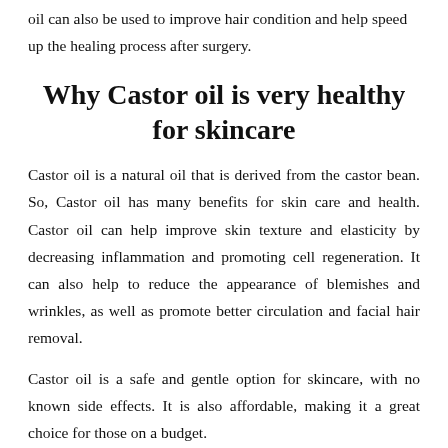oil can also be used to improve hair condition and help speed up the healing process after surgery.
Why Castor oil is very healthy for skincare
Castor oil is a natural oil that is derived from the castor bean. So, Castor oil has many benefits for skin care and health. Castor oil can help improve skin texture and elasticity by decreasing inflammation and promoting cell regeneration. It can also help to reduce the appearance of blemishes and wrinkles, as well as promote better circulation and facial hair removal.
Castor oil is a safe and gentle option for skincare, with no known side effects. It is also affordable, making it a great choice for those on a budget.